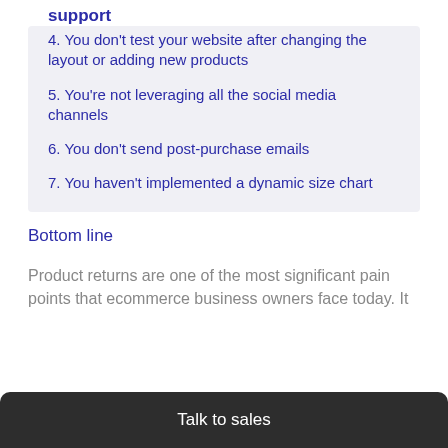4. You don't test your website after changing the layout or adding new products
5. You're not leveraging all the social media channels
6. You don't send post-purchase emails
7. You haven't implemented a dynamic size chart
Bottom line
Product returns are one of the most significant pain points that ecommerce business owners face today. It
Talk to sales